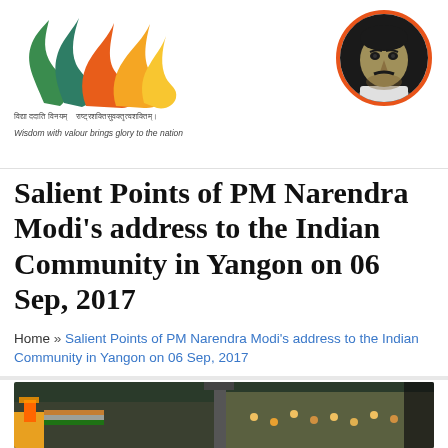[Figure (logo): Bharatiya Janata Party flame logo with saffron, green and yellow colors]
[Figure (photo): Black and white circular portrait photo of PM Narendra Modi with orange border]
विद्या ददाति विनयम्   विश्व संस्कृत: विद्यावत्सलता। Wisdom with valour brings glory to the nation
Salient Points of PM Narendra Modi's address to the Indian Community in Yangon on 06 Sep, 2017
Home » Salient Points of PM Narendra Modi's address to the Indian Community in Yangon on 06 Sep, 2017
[Figure (photo): Wide photo showing a large crowd at an Indian community event in Yangon, with people holding flags]